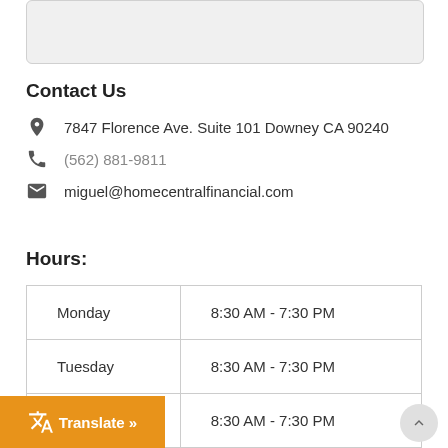Contact Us
7847 Florence Ave. Suite 101 Downey CA 90240
(562) 881-9811
miguel@homecentralfinancial.com
Hours:
| Day | Hours |
| --- | --- |
| Monday | 8:30 AM - 7:30 PM |
| Tuesday | 8:30 AM - 7:30 PM |
|  | 8:30 AM - 7:30 PM |